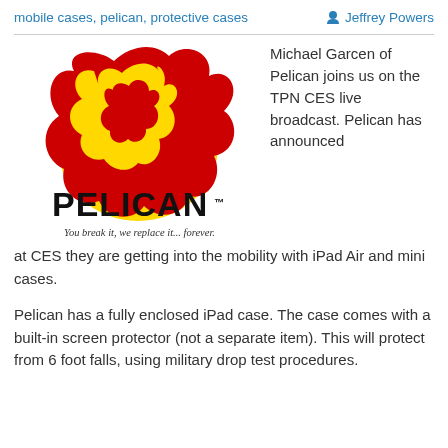mobile cases, pelican, protective cases
Jeffrey Powers
[Figure (logo): Pelican logo with red and yellow bird graphic, bold PELICAN text, TM mark, and tagline 'You break it, we replace it... forever.']
Michael Garcen of Pelican joins us on the TPN CES live broadcast. Pelican has announced at CES they are getting into the mobility with iPad Air and mini cases.
Pelican has a fully enclosed iPad case. The case comes with a built-in screen protector (not a separate item). This will protect from 6 foot falls, using military drop test procedures.